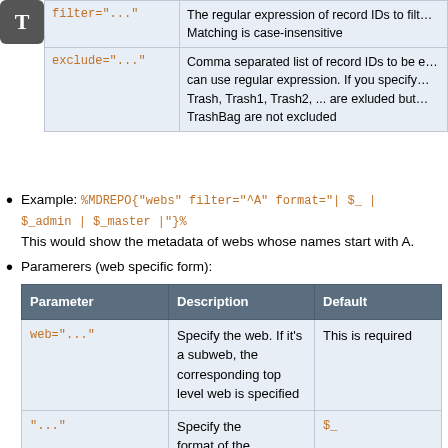[Figure (other): Gray T icon badge in top-left corner]
| Parameter | Description |
| --- | --- |
| filter="..." | The regular expression of record IDs to filt... Matching is case-insensitive |
| exclude="..." | Comma separated list of record IDs to be e... can use regular expression. If you specify... Trash, Trash1, Trash2, ... are exluded but... TrashBag are not excluded |
Example: %MDREPO{"webs" filter="^A" format="| $_ | $_admin | $_master |"}% This would show the metadata of webs whose names start with A.
Paramerers (web specific form):
| Parameter | Description | Default |
| --- | --- | --- |
| web="..." | Specify the web. If it's a subweb, the corresponding top level web is specified | This is required |
| "..." | Specify the format of the | $_ |